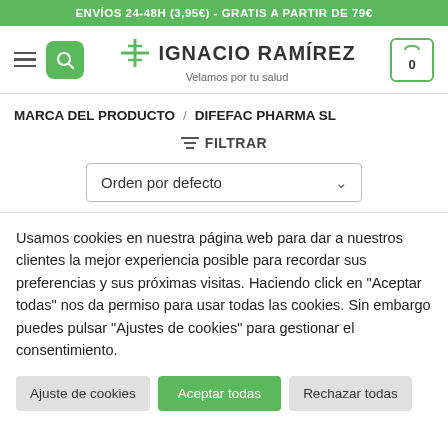ENVÍOS 24-48H (3,95€) - GRATIS A PARTIR DE 79€
[Figure (logo): Ignacio Ramírez pharmacy logo with green search button, hamburger menu, and cart icon showing 0]
MARCA DEL PRODUCTO / DIFEFAC PHARMA SL
≡ FILTRAR
Orden por defecto
Usamos cookies en nuestra página web para dar a nuestros clientes la mejor experiencia posible para recordar sus preferencias y sus próximas visitas. Haciendo click en "Aceptar todas" nos da permiso para usar todas las cookies. Sin embargo puedes pulsar "Ajustes de cookies" para gestionar el consentimiento.
Ajuste de cookies | Aceptar todas | Rechazar todas